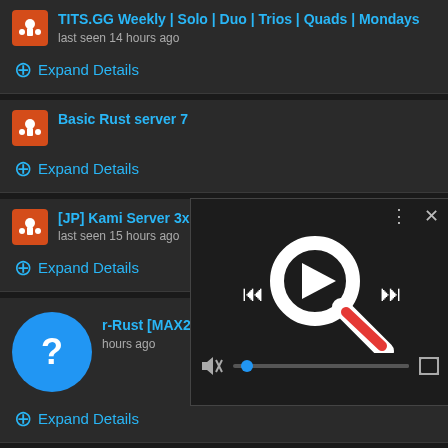TITS.GG Weekly | Solo | Duo | Trios | Quads | Mondays last seen 14 hours ago
Expand Details
Basic Rust server 7
Expand Details
[Figure (screenshot): Video player popup overlay with play/skip controls, mute button, progress bar, fullscreen button, and a large magnifying glass icon with a red handle in the center of the player.]
[JP] Kami Server 3x last seen 15 hours ago
Expand Details
r-Rust [MAX2|BARREN|X5/X10] 29/08 last seen 15 hours ago
Expand Details
Evolution Republic Duo [x10/x15 | TR | KITS | EVENTS |